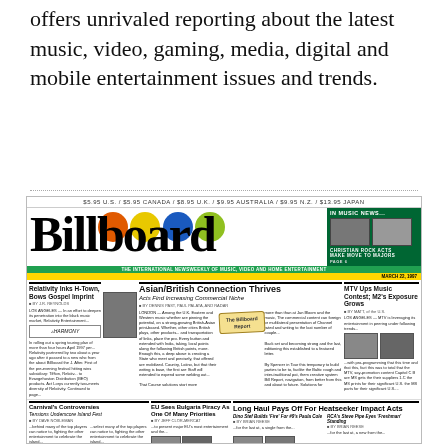offers unrivaled reporting about the latest music, video, gaming, media, digital and mobile entertainment issues and trends.
[Figure (illustration): Billboard magazine cover showing the Billboard logo with colorful vinyl record circle graphics, and various article headlines including 'Asian/British Connection Thrives', 'Relativity Inks H-Town, Bows Gospel Imprint', 'MTV Ups Music Contest; M2's Exposure Grows', 'Carnival's Controversies', 'EU Sees Bulgaria Piracy As One Of Many Priorities', 'Long Haul Pays Off For Heatseeker Impact Acts']